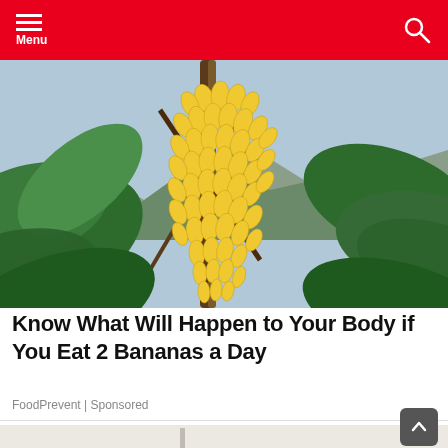Menu
[Figure (photo): Large bunch of yellow bananas hanging on a banana plant surrounded by large green tropical leaves, with mountains and sky visible in the background.]
Know What Will Happen to Your Body if You Eat 2 Bananas a Day
FoodPrevent | Sponsored
[Figure (photo): Partial view of another image below the article, background light grey/white.]